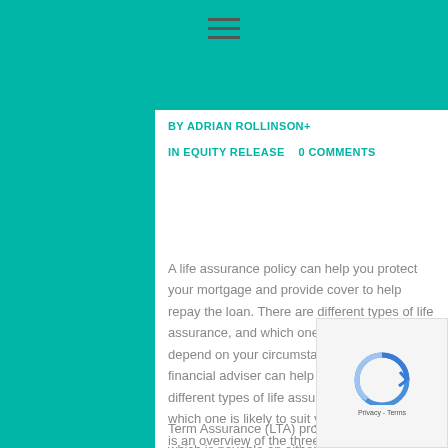≡
BY ADRIAN ROLLINSON+
IN EQUITY RELEASE    0 COMMENTS
A life assurance policy can help you protect your mortgage and provide cover to help repay the loan. There are different types of life assurance, and which one suits you will depend on your circumstances and needs. A financial adviser can help you understand the different types of life assurance policies and which one is likely to suit you personally. Here is an overview of the three types of life assurance available to protect pensioner mortgages.
Term Assurance (LTA) provides life insurance which is payable on either